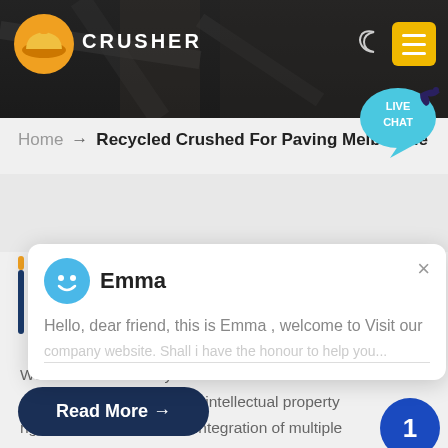[Figure (screenshot): Website header banner with dark rocky background, orange/yellow logo icon, CRUSHER text logo, moon icon, and yellow hamburger menu button]
[Figure (illustration): Teal/cyan live chat speech bubble with text LIVE CHAT and a dark bird/chat icon]
Home → Recycled Crushed For Paving Melbourne
[Figure (screenshot): White chat popup with blue avatar icon, name Emma, greeting text, and X close button]
We have successively launched vertical mill products with independent intellectual property rights. Product Features: Integration of multiple functions, more stable and reliable production and more excellent capacity
Read More →